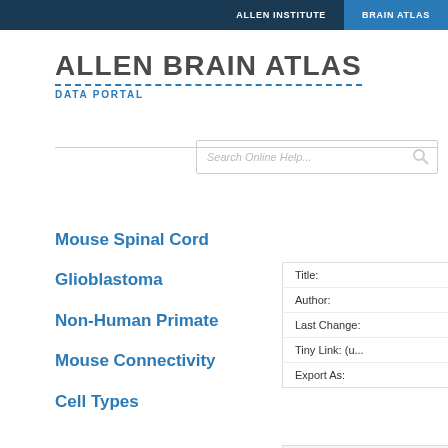ALLEN INSTITUTE | BRAIN ATLAS
ALLEN BRAIN ATLAS
DATA PORTAL
Search Online Help...
Mouse Spinal Cord
Glioblastoma
Non-Human Primate
Mouse Connectivity
Cell Types
Title:
Author:
Last Change:
Tiny Link: (u...
Export As:
Incoming Li...